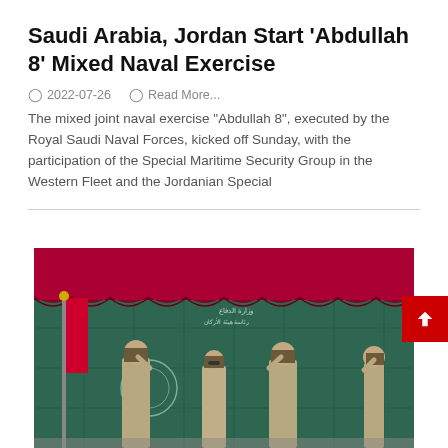Saudi Arabia, Jordan Start 'Abdullah 8' Mixed Naval Exercise
2022-07-26   Read More...
The mixed joint naval exercise "Abdullah 8", executed by the Royal Saudi Naval Forces, kicked off Sunday, with the participation of the Special Maritime Security Group in the Western Fleet and the Jordanian Special
[Figure (photo): Military personnel in desert camouflage uniforms saluting during a ceremony under a red decorative tent/canopy, in front of a building with green glass facade bearing Arabic text. A red flag is visible on the left.]